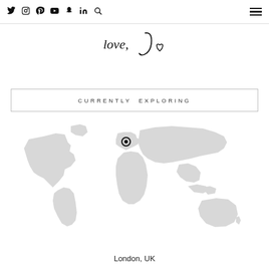Social media icons and hamburger menu
[Figure (logo): Handwritten script logo reading 'love, J' with a small heart]
CURRENTLY EXPLORING
[Figure (map): World map in light grey with a location pin marker on London, UK]
London, UK